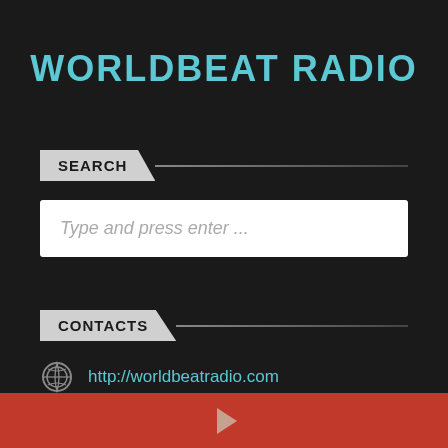WORLDBEAT RADIO
SEARCH
Type and press enter ...
CONTACTS
http://worldbeatradio.com
+1 (415) 333-5601